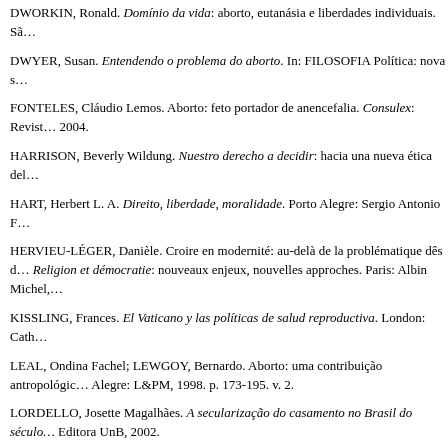DWORKIN, Ronald. Domínio da vida: aborto, eutanásia e liberdades individuais. Sã…
DWYER, Susan. Entendendo o problema do aborto. In: FILOSOFIA Política: nova s…
FONTELES, Cláudio Lemos. Aborto: feto portador de anencefalia. Consulex: Revist… 2004.
HARRISON, Beverly Wildung. Nuestro derecho a decidir: hacia una nueva ética del…
HART, Herbert L. A. Direito, liberdade, moralidade. Porto Alegre: Sergio Antonio F…
HERVIEU-LÉGER, Danièle. Croire en modernité: au-delà de la problématique dês… Religion et démocratie: nouveaux enjeux, nouvelles approches. Paris: Albin Michel,…
KISSLING, Frances. El Vaticano y las políticas de salud reproductiva. London: Cath…
LEAL, Ondina Fachel; LEWGOY, Bernardo. Aborto: uma contribuição antropológic… Alegre: L&PM, 1998. p. 173-195. v. 2.
LORDELLO, Josette Magalhães. A secularização do casamento no Brasil do século… Editora UnB, 2002.
LOREA, Roberto Arriada. Violação de direitos. 2005. Available at: <http://www.the… name=News&file=article&sid=42>. Accessed on: February 9, 2006.
MARTINS, Ives Gandra. Aborto: uma questão constitucional. 2003. Disponível em:… Accessed on February 9, 2006.
MOREIRA, Alexandre Mussoi. Anencefalia e antecipação de parto (a legislação d…